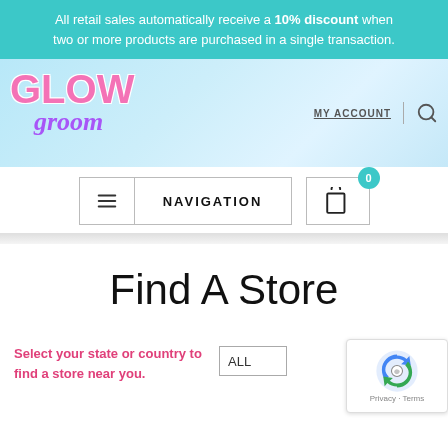All retail sales automatically receive a 10% discount when two or more products are purchased in a single transaction.
[Figure (logo): Glow Groom brand logo with pink 'GLOW' text and purple italic 'groom' text on a light blue gradient background]
MY ACCOUNT
NAVIGATION
Find A Store
Select your state or country to find a store near you.